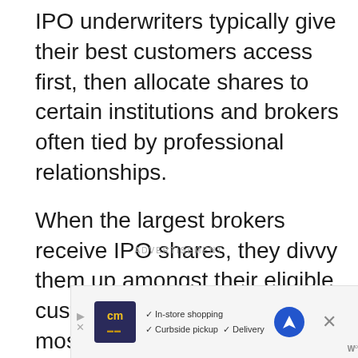IPO underwriters typically give their best customers access first, then allocate shares to certain institutions and brokers often tied by professional relationships.
When the largest brokers receive IPO shares, they divvy them up amongst their eligible customers, prioritizing their most valued customers first (wealthiest).
ADVERTISEMENT
[Figure (other): Advertisement banner with cm logo, checkmarks for In-store shopping, Curbside pickup, Delivery, a blue navigation arrow icon, a close X button, and a wordmark]